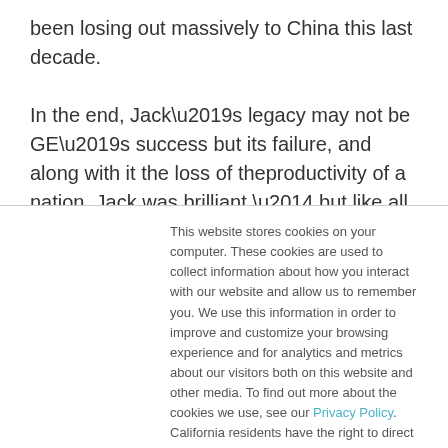been losing out massively to China this last decade.

In the end, Jack’s legacy may not be GE’s success but its failure, and along with it the loss of theproductivity of a nation. Jack was brilliant — but like all brilliant people, he too made mistakes. ForcedRanking may be one of them, and maybe it’s time to put a stake in it before it wipes out the U.S.Apparently
This website stores cookies on your computer. These cookies are used to collect information about how you interact with our website and allow us to remember you. We use this information in order to improve and customize your browsing experience and for analytics and metrics about our visitors both on this website and other media. To find out more about the cookies we use, see our Privacy Policy. California residents have the right to direct us not to sell their personal information to third parties by filing an Opt-Out Request: Do Not Sell My Personal Info.